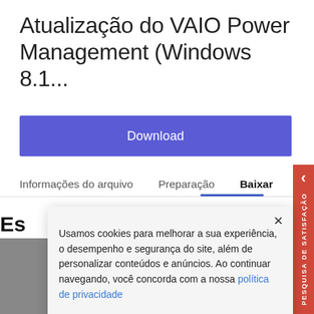Atualização do VAIO Power Management (Windows 8.1...
[Figure (screenshot): Blue Download button]
Informações do arquivo   Preparação   Baixar
Es
Usamos cookies para melhorar a sua experiência, o desempenho e segurança do site, além de personalizar conteúdos e anúncios. Ao continuar navegando, você concorda com a nossa política de privacidade
Entendi e fechar